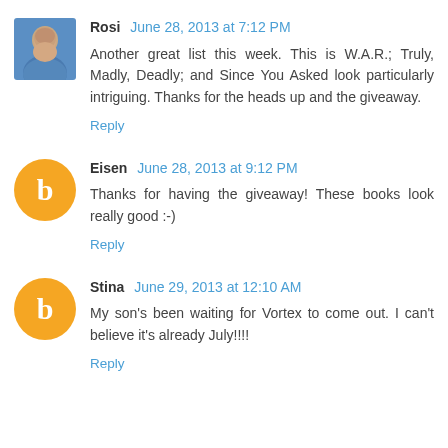Rosi  June 28, 2013 at 7:12 PM
Another great list this week. This is W.A.R.; Truly, Madly, Deadly; and Since You Asked look particularly intriguing. Thanks for the heads up and the giveaway.
Reply
Eisen  June 28, 2013 at 9:12 PM
Thanks for having the giveaway! These books look really good :-)
Reply
Stina  June 29, 2013 at 12:10 AM
My son's been waiting for Vortex to come out. I can't believe it's already July!!!!
Reply